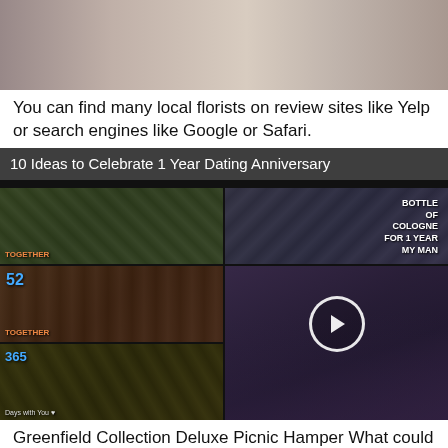[Figure (photo): Top portion of a blurred photo showing objects on a surface, cropped]
You can find many local florists on review sites like Yelp or search engines like Google or Safari.
[Figure (screenshot): Video thumbnail grid with title '10 Ideas to Celebrate 1 Year Dating Anniversary', showing 5 photos of anniversary gift ideas in a 2x3 grid layout with a play button overlay on one cell]
Greenfield Collection Deluxe Picnic Hamper What could be better than spending an afternoon outdoors with your one and only? We can't imagine anyone being disappointed after unwrapping one of these deep-muscle massage tools.